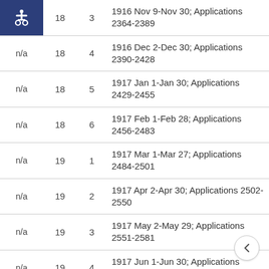|  | Vol | No | Description |
| --- | --- | --- | --- |
| [icon] | 18 | 3 | 1916 Nov 9-Nov 30; Applications 2364-2389 |
| n/a | 18 | 4 | 1916 Dec 2-Dec 30; Applications 2390-2428 |
| n/a | 18 | 5 | 1917 Jan 1-Jan 30; Applications 2429-2455 |
| n/a | 18 | 6 | 1917 Feb 1-Feb 28; Applications 2456-2483 |
| n/a | 19 | 1 | 1917 Mar 1-Mar 27; Applications 2484-2501 |
| n/a | 19 | 2 | 1917 Apr 2-Apr 30; Applications 2502-2550 |
| n/a | 19 | 3 | 1917 May 2-May 29; Applications 2551-2581 |
| n/a | 19 | 4 | 1917 Jun 1-Jun 30; Applications 2582-2643 |
| n/a | 19 | 5 | 1917 Jul 2-Jul 27; Applications 2644-2675 |
| n/a | 19 | 6 | 1917 Aug 1-Aug 29; Applications 2676-2710 |
| n/a | 19 | 7 | 1917 Sep 1-Sep 8; Applications |